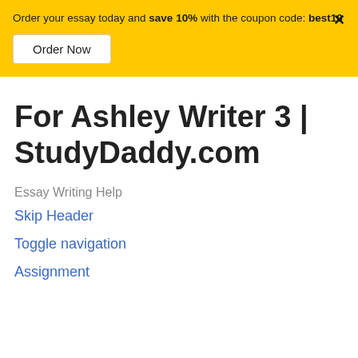Order your essay today and save 10% with the coupon code: best10
Order Now
×
For Ashley Writer 3 | StudyDaddy.com
Essay Writing Help
Skip Header
Toggle navigation
Assignment